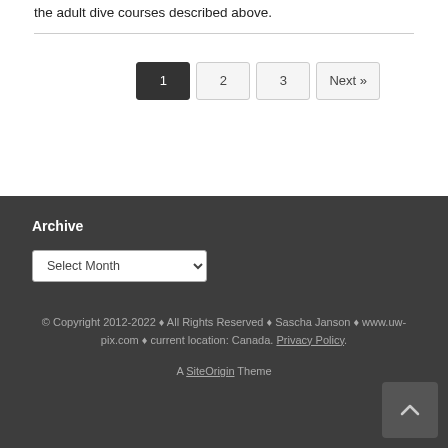the adult dive courses described above.
Pagination: 1 (current), 2, 3, Next »
Archive
Select Month (dropdown)
© Copyright 2012-2022 ♦ All Rights Reserved ♦ Sascha Janson ♦ www.uw-pix.com ♦ current location: Canada. Privacy Policy.
A SiteOrigin Theme